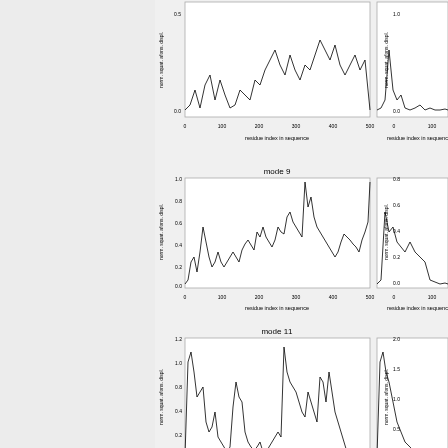[Figure (continuous-plot): Top partial plots showing normalized squared fluctuation vs residue index in sequence for modes (partially visible at top of page), two side-by-side plots cropped]
[Figure (continuous-plot): Mode 9 normalized squared fluctuations plot showing fluctuation profile over residue indices 0-500, with peaks around 200-300 and near 500]
[Figure (continuous-plot): Mode 11 normalized squared fluctuations plot showing fluctuation profile over residue indices 0-500 with large peaks near 0, 300, and 400]
<figure id="fig:fluc_plot">
Normalized squared fluctuations for all moc